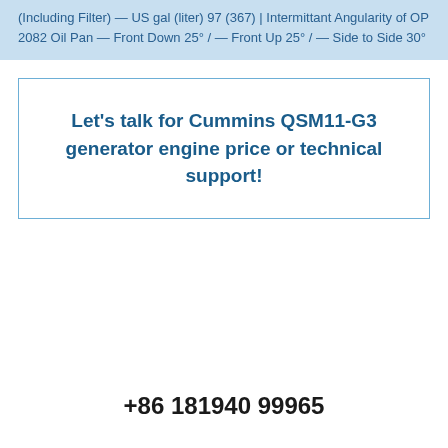(Including Filter) — US gal (liter) 97 (367) | Intermittant Angularity of OP 2082 Oil Pan — Front Down 25° / — Front Up 25° / — Side to Side 30°
Let's talk for Cummins QSM11-G3 generator engine price or technical support!
+86 181940 99965